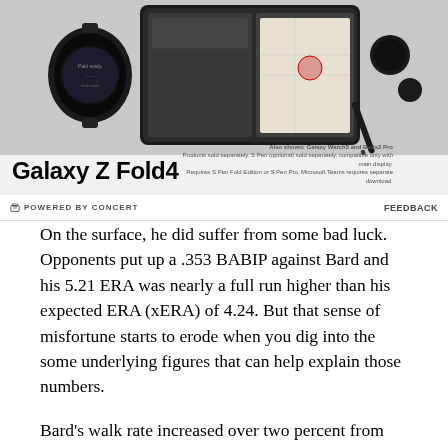[Figure (photo): Samsung Galaxy Z Fold4 advertisement showing the folding phone with Galaxy Watch5 and Buds2 Pro. Text reads 'Galaxy Z Fold4' and 'Also shown: Galaxy Watch5 and Buds2 Pro. Products sold separately. S Pen (optional) sold separately, compatible only with main display. Requires S Pen Fold Edition or S Pen Pro. Microsoft Teams requires separate download.']
POWERED BY CONCERT   FEEDBACK
On the surface, he did suffer from some bad luck. Opponents put up a .353 BABIP against Bard and his 5.21 ERA was nearly a full run higher than his expected ERA (xERA) of 4.24. But that sense of misfortune starts to erode when you dig into the some underlying figures that can help explain those numbers.
Bard's walk rate increased over two percent from 9.4% in 2020 to 11.8% in 2021 and his line drive percentage spiked almost ten percent from 16.7% in 2020 to 26.3% in 2021. Add in a six percent drop in ground ball